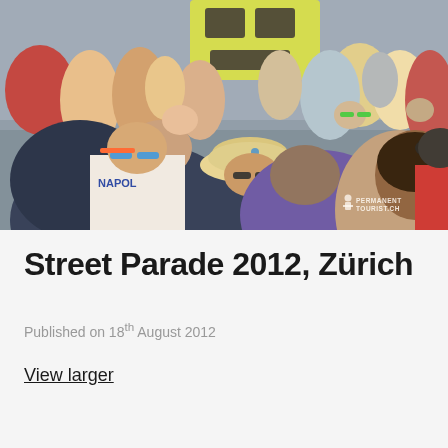[Figure (photo): A large crowd at the Zürich Street Parade 2012. Many young people are packed together outdoors in bright sunlight. A person in a white t-shirt with 'NAPOLI' text and blue sunglasses is visible, as is a man in a straw fedora hat looking at a phone. A person in a purple shirt is prominent in the center. Colorful decorations and signs are visible above the crowd. A watermark reading 'PERMANENT TOURIST.CH' is in the bottom right corner.]
Street Parade 2012, Zürich
Published on 18th August 2012
View larger